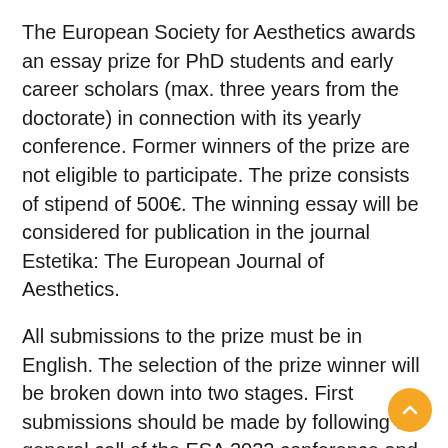The European Society for Aesthetics awards an essay prize for PhD students and early career scholars (max. three years from the doctorate) in connection with its yearly conference. Former winners of the prize are not eligible to participate. The prize consists of stipend of 500€. The winning essay will be considered for publication in the journal Estetika: The European Journal of Aesthetics.
All submissions to the prize must be in English. The selection of the prize winner will be broken down into two stages. First submissions should be made by following the general call of the ESA 2022 conference and all submissions will be considered for presentation at the conference. Please place "(Essay Prize)" after the title of your submission in EasyChair to indicate that you want your submission to be considered for the prize. After the first round of reviews, selected authors will be asked to submit a full conference paper (max. 5,000 words,